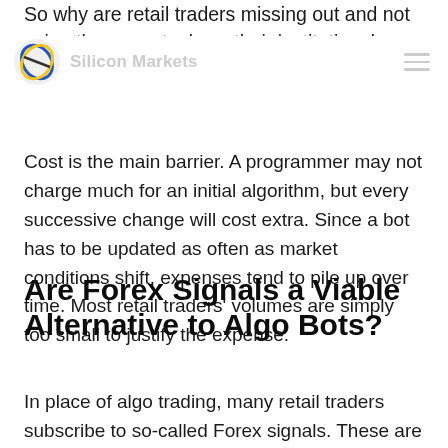So why are retail traders missing out and not using the same tools as their institutional peers?
Silicon Markets
Cost is the main barrier. A programmer may not charge much for an initial algorithm, but every successive change will cost extra. Since a bot has to be updated as often as market conditions shift, expenses tend to pile up over time. Most retail traders' volumes are simply too small to justify the expense.
Are Forex Signals a Viable Alternative to Algo Bots?
In place of algo trading, many retail traders subscribe to so-called Forex signals. These are buy & sell alerts supplied by professional traders and